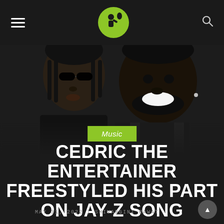Navigation bar with hamburger menu, site logo, and search icon
[Figure (photo): Close-up photo of two men — Jay-Z on the left wearing sunglasses and black shirt, Cedric the Entertainer on the right smiling, wearing a dark suit jacket, against a dark background]
Music
CEDRIC THE ENTERTAINER FREESTYLED HIS PART ON JAY-Z SONG
MAY 31, 2022 | SHIVANGINI RAWAT